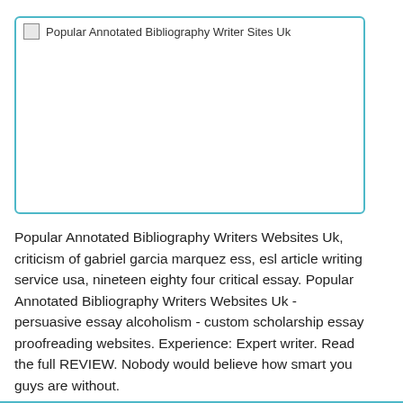[Figure (other): Broken image placeholder with alt text: Popular Annotated Bibliography Writer Sites Uk. Shown as a bordered rectangle with teal/cyan border.]
Popular Annotated Bibliography Writers Websites Uk, criticism of gabriel garcia marquez ess, esl article writing service usa, nineteen eighty four critical essay. Popular Annotated Bibliography Writers Websites Uk - persuasive essay alcoholism - custom scholarship essay proofreading websites. Experience: Expert writer. Read the full REVIEW. Nobody would believe how smart you guys are without.